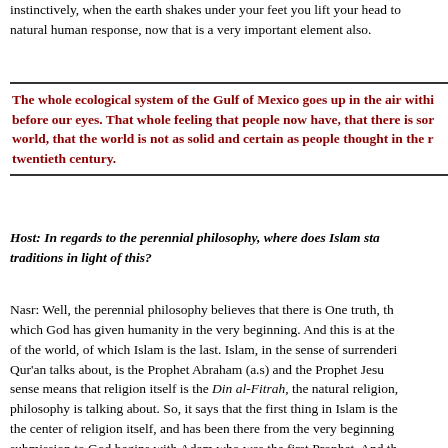instinctively, when the earth shakes under your feet you lift your head to natural human response, now that is a very important element also.
The whole ecological system of the Gulf of Mexico goes up in the air within before our eyes. That whole feeling that people now have, that there is something wrong with the world, that the world is not as solid and certain as people thought in the mid-twentieth century.
Host: In regards to the perennial philosophy, where does Islam stand vis-à-vis other traditions in light of this?
Nasr: Well, the perennial philosophy believes that there is One truth, the primordial truth which God has given humanity in the very beginning. And this is at the heart of all religions of the world, of which Islam is the last. Islam, in the sense of surrendering to God which the Qur'an talks about, is the Prophet Abraham (a.s) and the Prophet Jesus (a.s). Islam in that sense means that religion itself is the Din al-Fitrah, the natural religion, which the perennial philosophy is talking about. So, it says that the first thing in Islam is the Tawhid which is the center of religion itself, and has been there from the very beginning. And this total submission to God begins with Adam who was the first Prophet. And th